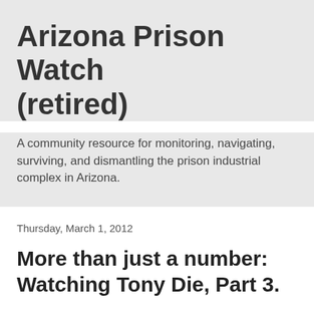Arizona Prison Watch (retired)
A community resource for monitoring, navigating, surviving, and dismantling the prison industrial complex in Arizona.
Thursday, March 1, 2012
More than just a number: Watching Tony Die, Part 3.